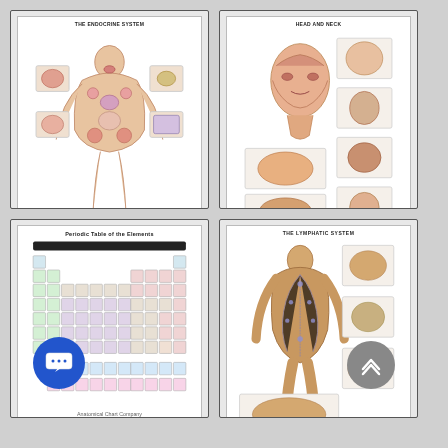[Figure (illustration): Anatomy poster thumbnail: The Endocrine System showing a female body with labeled endocrine glands and organs]
Endocrine System
[Figure (illustration): Anatomy poster thumbnail: Head and Neck showing detailed muscle anatomy of the head and neck from multiple views]
Extremities and Joints
[Figure (illustration): Science poster thumbnail: Periodic Table of the Elements]
[Figure (illustration): Anatomy poster thumbnail: The Lymphatic System showing a human body with lymphatic vessels and nodes]
Contact us